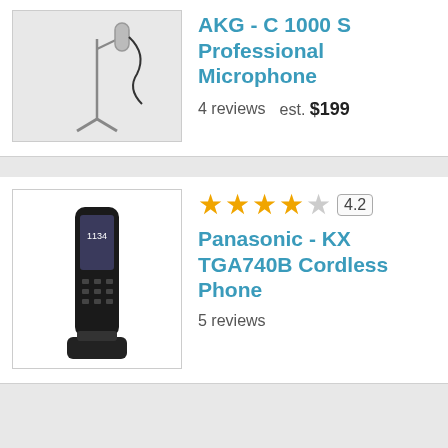[Figure (photo): AKG C 1000 S Professional Microphone product image with stand and cable]
AKG - C 1000 S Professional Microphone
4 reviews   est. $199
[Figure (photo): Panasonic KX TGA740B Cordless Phone product image]
★★★★☆ 4.2
Panasonic - KX TGA740B Cordless Phone
5 reviews
[Figure (logo): Viewpoints logo - orange/yellow speech bubble with V]
Browse categories | Write a review
Home · Press · Reviews · Sweepstakes · Site Map · Privacy Policy